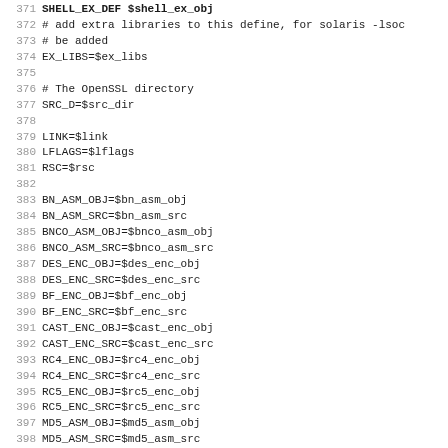Code listing lines 372-403 showing Makefile variable assignments for OpenSSL build configuration including EX_LIBS, SRC_D, LINK, LFLAGS, RSC, BN_ASM_OBJ, BN_ASM_SRC, BNCO_ASM_OBJ, BNCO_ASM_SRC, DES_ENC_OBJ, DES_ENC_SRC, BF_ENC_OBJ, BF_ENC_SRC, CAST_ENC_OBJ, CAST_ENC_SRC, RC4_ENC_OBJ, RC4_ENC_SRC, RC5_ENC_OBJ, RC5_ENC_SRC, MD5_ASM_OBJ, MD5_ASM_SRC, SHA1_ASM_OBJ, SHA1_ASM_SRC, RMD160_ASM_OBJ, RMD160_ASM_SRC